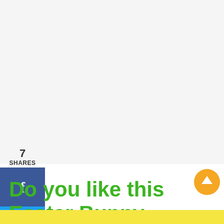7
SHARES
[Figure (infographic): Social share buttons: Facebook (blue), Twitter (light blue), Pinterest (red with count 7)]
Do you like this Easter Bunny Pencil Topper?
[Figure (illustration): Orange circular scroll-to-top button with upward arrow]